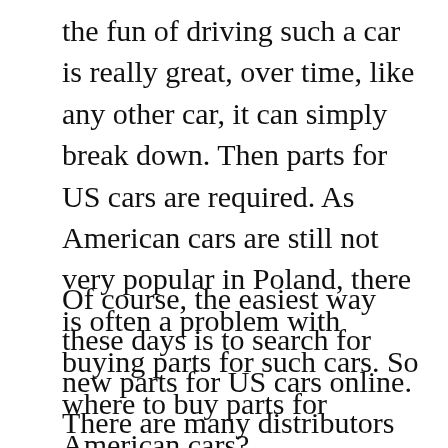the fun of driving such a car is really great, over time, like any other car, it can simply break down. Then parts for US cars are required. As American cars are still not very popular in Poland, there is often a problem with buying parts for such cars. So where to buy parts for American cars?
Of course, the easiest way these days is to search for new parts for US cars online. There are many distributors in the network who offer quick and cheap access to components of all brands of American cars. However, it should be